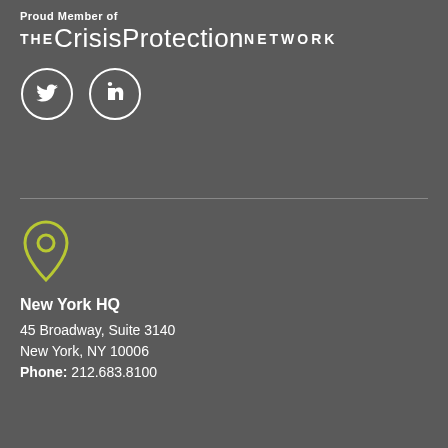Proud Member of
THECrisisProtectionNETWORK
[Figure (illustration): Twitter and LinkedIn social media icons in circles]
New York HQ
45 Broadway, Suite 3140
New York, NY 10006
Phone: 212.683.8100